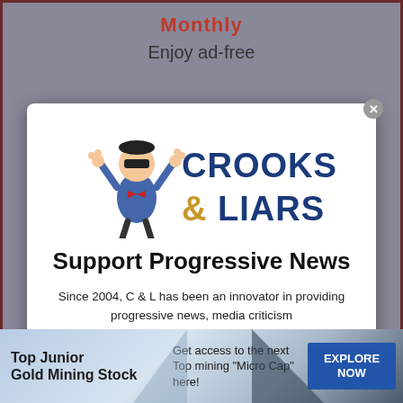Monthly
Enjoy ad-free
[Figure (logo): Crooks & Liars logo with cartoon mascot character raising hands, text CROOKS & LIARS in blue and gold]
Support Progressive News
Since 2004, C & L has been an innovator in providing progressive news, media criticism and to tell you just what the hell is going on in politics.
Supporters help fund C&L, promoting our shared values and hard news with a progressive voice.
Consider becoming a supporter member today.
[Figure (infographic): Advertisement banner for Top Junior Gold Mining Stock. Text: Top Junior Gold Mining Stock | Get access to the next Top mining Micro Cap here! | EXPLORE NOW button. Blue/grey gradient background with triangle shapes.]